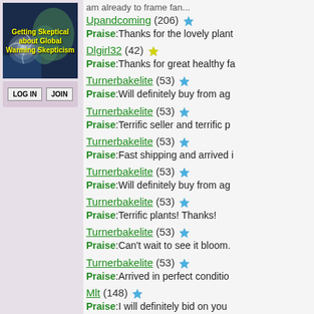[Figure (illustration): Banner image showing satellite view of a hurricane over Earth with text 'Getting Skeptical about Global Warming Skepticism' in yellow bold text]
LOG IN | JOIN
Praise: am already to frame fan... (truncated)
Upandcoming (206) ★ Praise:Thanks for the lovely plant
Dlgirl32 (42) ★ Praise:Thanks for great healthy fa
Turnerbakelite (53) ★ Praise:Will definitely buy from ag
Turnerbakelite (53) ★ Praise:Terrific seller and terrific p
Turnerbakelite (53) ★ Praise:Fast shipping and arrived i
Turnerbakelite (53) ★ Praise:Will definitely buy from ag
Turnerbakelite (53) ★ Praise:Terrific plants! Thanks!
Turnerbakelite (53) ★ Praise:Can't wait to see it bloom.
Turnerbakelite (53) ★ Praise:Arrived in perfect conditio
Mlt (148) ★ Praise:I will definitely bid on you